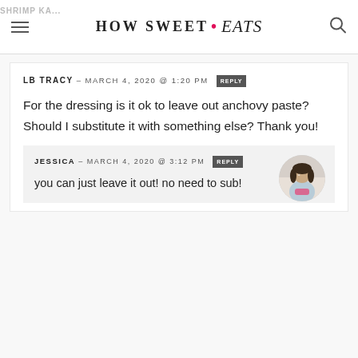HOW SWEET eats
LB TRACY – MARCH 4, 2020 @ 1:20 PM  REPLY
For the dressing is it ok to leave out anchovy paste? Should I substitute it with something else? Thank you!
JESSICA – MARCH 4, 2020 @ 3:12 PM  REPLY
you can just leave it out! no need to sub!